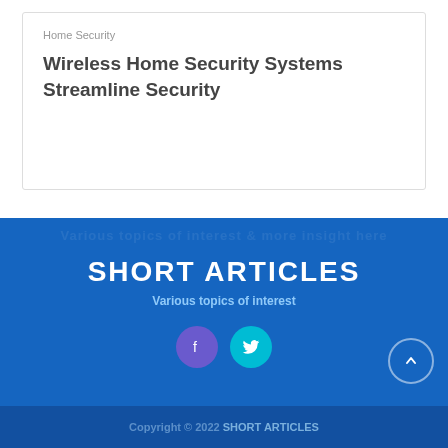Home Security
Wireless Home Security Systems Streamline Security
SHORT ARTICLES
Various topics of interest
Copyright © 2022 SHORT ARTICLES